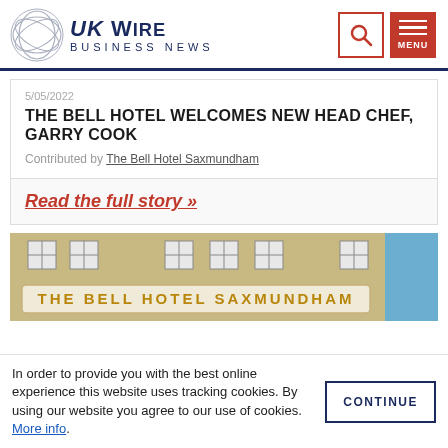UK Wire Business News
5/05/2022
THE BELL HOTEL WELCOMES NEW HEAD CHEF, GARRY COOK
Contributed by The Bell Hotel Saxmundham
Read the full story »
[Figure (photo): Exterior of The Bell Hotel Saxmundham building showing stone facade and signage reading THE BELL HOTEL SAXMUNDHAM]
In order to provide you with the best online experience this website uses tracking cookies. By using our website you agree to our use of cookies. More info.